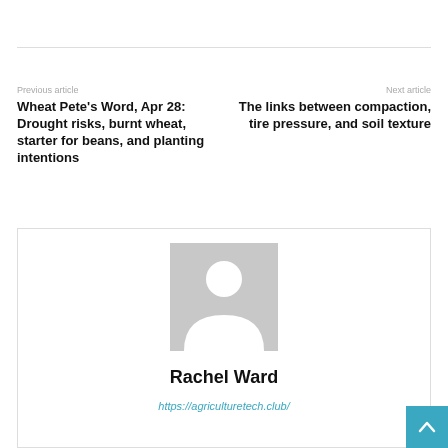Previous article
Wheat Pete's Word, Apr 28: Drought risks, burnt wheat, starter for beans, and planting intentions
Next article
The links between compaction, tire pressure, and soil texture
[Figure (illustration): Placeholder avatar silhouette — grey square with white person icon]
Rachel Ward
https://agriculturetech.club/